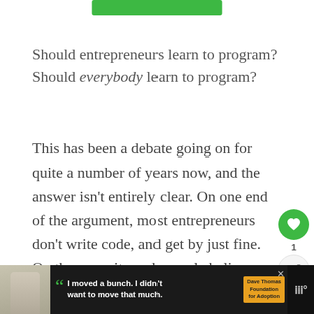[Figure (other): Green rounded rectangle banner at top of page]
Should entrepreneurs learn to program? Should everybody learn to program?
This has been a debate going on for quite a number of years now, and the answer isn't entirely clear. On one end of the argument, most entrepreneurs don't write code, and get by just fine. On the opposite end, people believe that not knowing how to
[Figure (other): Social interaction sidebar with green heart button (count: 1) and share button]
[Figure (other): What's Next panel showing thumbnail and text: What Is Amazon MK...]
[Figure (other): Advertisement banner at bottom: Dave Thomas Foundation for Adoption with quote I moved a bunch. I didn't want to move much.]